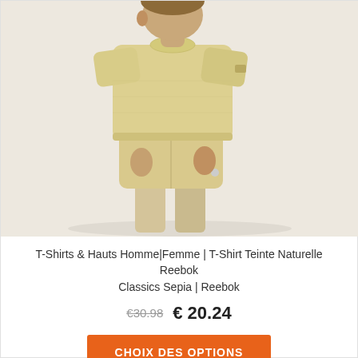[Figure (photo): A man wearing a beige/tan Reebok t-shirt and matching beige shorts, standing against a light grey background. The outfit is the Reebok Classics Sepia natural dye collection.]
T-Shirts & Hauts Homme|Femme | T-Shirt Teinte Naturelle Reebok Classics Sepia | Reebok
€30.98  € 20.24
CHOIX DES OPTIONS